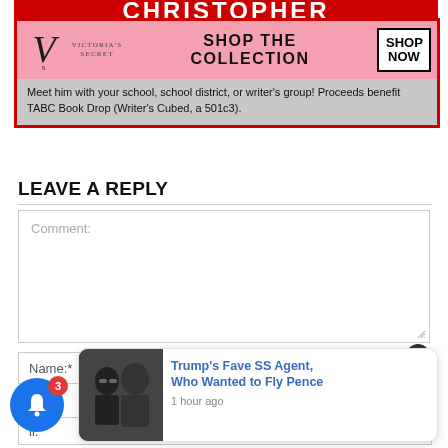[Figure (screenshot): Partial banner showing 'CHRISTOPHER' text in red/white at top of a bordered advertisement block]
[Figure (screenshot): Victoria's Secret advertisement banner with pink background, VS logo, 'SHOP THE COLLECTION' text and 'SHOP NOW' button]
Meet him with your school, school district, or writer's group! Proceeds benefit TABC Book Drop (Writer's Cubed, a 501c3).
LEAVE A REPLY
Comment:
Name:*
il:*
[Figure (screenshot): Notification card popup showing 'Trump's Fave SS Agent, Who Wanted to Fly Pence' with photo and '1 hour ago' timestamp]
[Figure (screenshot): Blue notification bell icon with red badge showing '3']